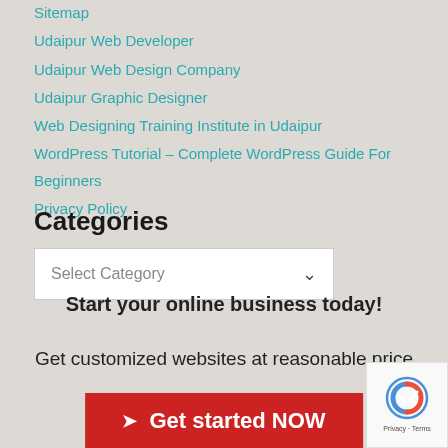Sitemap
Udaipur Web Developer
Udaipur Web Design Company
Udaipur Graphic Designer
Web Designing Training Institute in Udaipur
WordPress Tutorial – Complete WordPress Guide For Beginners
Privacy Policy
Categories
Select Category
Start your online business today!
Get customized websites at reasonable price
Get started NOW